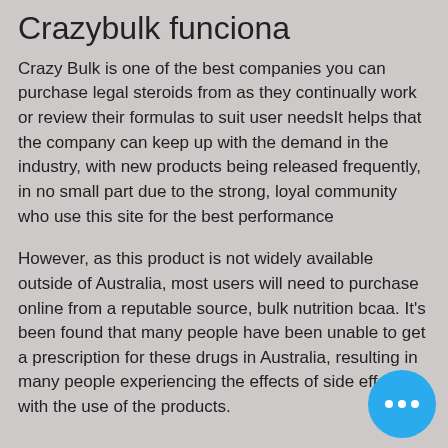Crazybulk funciona
Crazy Bulk is one of the best companies you can purchase legal steroids from as they continually work or review their formulas to suit user needsIt helps that the company can keep up with the demand in the industry, with new products being released frequently, in no small part due to the strong, loyal community who use this site for the best performance
However, as this product is not widely available outside of Australia, most users will need to purchase online from a reputable source, bulk nutrition bcaa. It's been found that many people have been unable to get a prescription for these drugs in Australia, resulting in many people experiencing the effects of side effects with the use of the products.